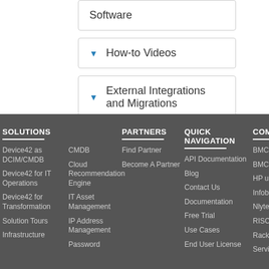Software
How-to Videos
External Integrations and Migrations
SOLUTIONS
PARTNERS
QUICK NAVIGATION
COMPA...
Device42 as DCIM/CMDB
Device42 for IT Operations
Device42 for Transformation
Solution Tours
Infrastructure
CMDB
Cloud Recommendation Engine
IT Asset Management
IP Address Management
Password
Find Partner
Become A Partner
API Documentation
Blog
Contact Us
Documentation
Free Trial
Use Cases
End User License
BMC Atrium
BMC Disco...
HP uCMDB
Infoblox IPA...
Nlyte
RISC Netw...
Racktables
ServiceNo...